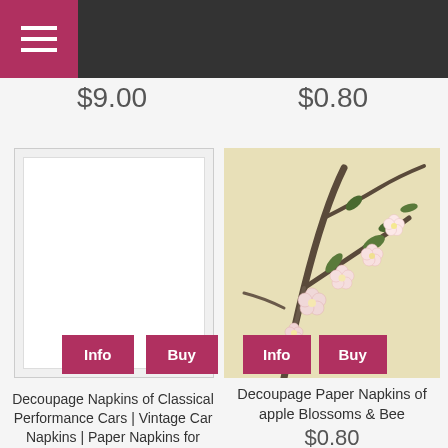Navigation menu bar
$9.00
$0.80
[Figure (photo): White blank product card with light gray border and inner border frame, showing Info and Buy buttons]
[Figure (photo): Decoupage paper napkin showing apple blossoms and branches with pink and white flowers on cream background, with Info and Buy buttons]
Decoupage Napkins of Classical Performance Cars | Vintage Car Napkins | Paper Napkins for Decoupage and...
Decoupage Paper Napkins of apple Blossoms & Bee
$0.80